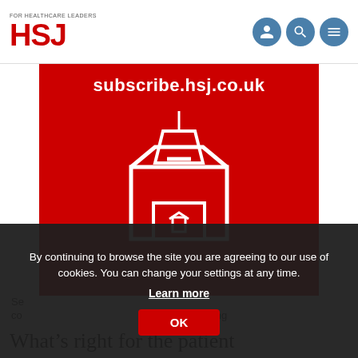FOR HEALTHCARE LEADERS HSJ
[Figure (illustration): Red banner with white text 'subscribe.hsj.co.uk' and a white ballot box icon with envelope being inserted]
Se...co...th...He...
By continuing to browse the site you are agreeing to our use of cookies. You can change your settings at any time. Learn more OK
What’s right for the patient